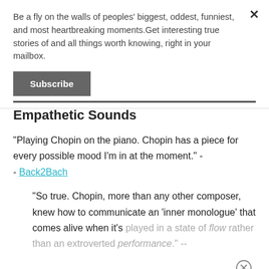Be a fly on the walls of peoples' biggest, oddest, funniest, and most heartbreaking moments.Get interesting true stories of and all things worth knowing, right in your mailbox.
Subscribe
Empathetic Sounds
"Playing Chopin on the piano. Chopin has a piece for every possible mood I'm in at the moment." - - Back2Bach
"So true. Chopin, more than any other composer, knew how to communicate an 'inner monologue' that comes alive when it's played in a state of flow rather than an extroverted performance." --